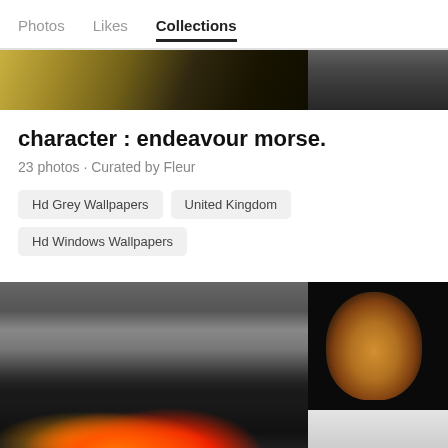Photos  Likes  Collections
[Figure (photo): Two partially visible photos at top: left shows abstract diagonal streaks in gold/dark tones, right shows dark architectural interior]
character : endeavour morse.
23 photos · Curated by Fleur
Hd Grey Wallpapers
United Kingdom
Hd Windows Wallpapers
[Figure (photo): Left: dramatic photo of burning wood/fire with ash and embers in dark grey tones with orange/red flames. Top right: portrait of young man illuminated from below in dark setting with warm amber lighting. Bottom right: partial view of light grey/white abstract image.]